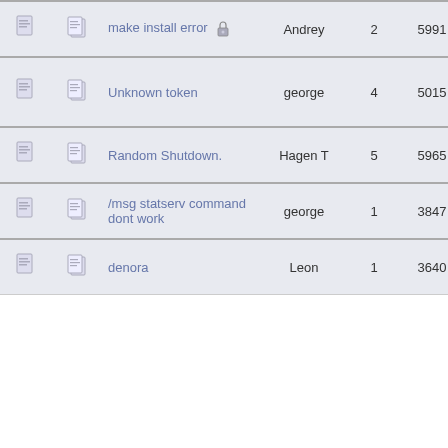|  |  | Topic | Author | Replies | Views | Last Post |
| --- | --- | --- | --- | --- | --- | --- |
| [icon] | [icon] | make install error [lock] | Andrey | 2 | 5991 | October 17, 2010, 09:43:34 PM by Andrey |
| [icon] | [icon] | Unknown token | george | 4 | 5015 | November 18, 2010, 01:33:31 PM by Charles Kingsley |
| [icon] | [icon] | Random Shutdown. | Hagen T | 5 | 5965 | November 23, 2010, 02:10:23 PM by Hal9000 |
| [icon] | [icon] | /msg statserv command dont work | george | 1 | 3847 | December 20, 2010, 10:31:18 AM by GhosT |
| [icon] | [icon] | denora | Leon | 1 | 3640 | January 23, 2011, 01:32:40 PM by Hal9000 |